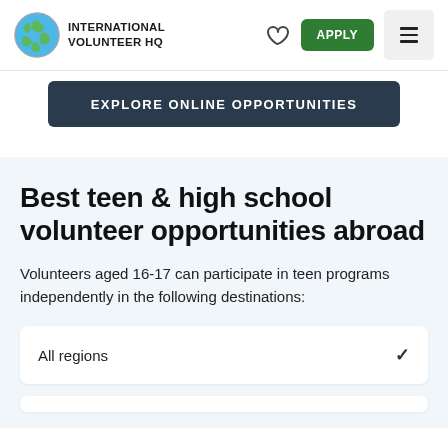[Figure (logo): International Volunteer HQ globe logo with text 'INTERNATIONAL VOLUNTEER HQ']
APPLY
EXPLORE ONLINE OPPORTUNITIES
Best teen & high school volunteer opportunities abroad
Volunteers aged 16-17 can participate in teen programs independently in the following destinations:
All regions